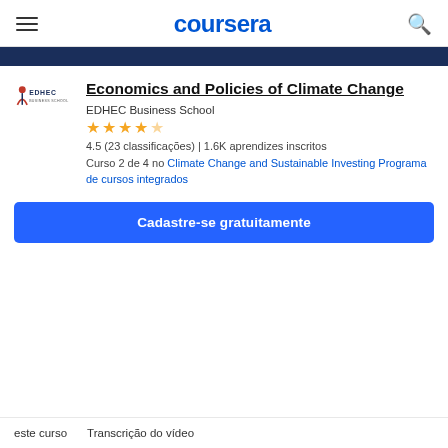coursera
[Figure (illustration): Dark navy banner bar across the top of the course page]
[Figure (logo): EDHEC Business School logo with red and dark blue text and a figure icon]
Economics and Policies of Climate Change
EDHEC Business School
★★★★☆ 4.5 (23 classificações) | 1.6K aprendizes inscritos
Curso 2 de 4 no Climate Change and Sustainable Investing Programa de cursos integrados
Cadastre-se gratuitamente
este curso
Transcrição do vídeo